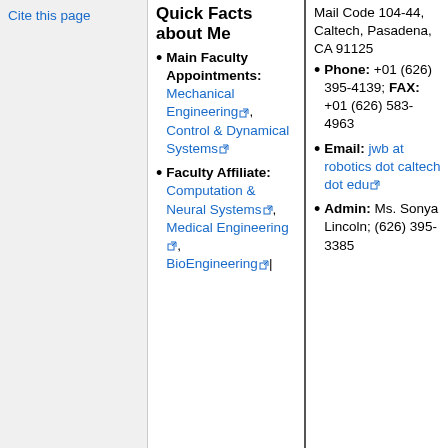Cite this page
Quick Facts about Me
Main Faculty Appointments: Mechanical Engineering, Control & Dynamical Systems
Faculty Affiliate: Computation & Neural Systems, Medical Engineering, BioEngineering
Mail Code 104-44, Caltech, Pasadena, CA 91125
Phone: +01 (626) 395-4139; FAX: +01 (626) 583-4963
Email: jwb at robotics dot caltech dot edu
Admin: Ms. Sonya Lincoln; (626) 395-3385